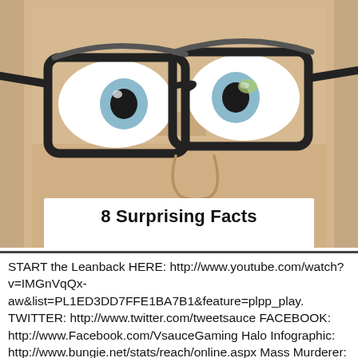[Figure (photo): Close-up photo of a person's face with wide open eyes and black-framed glasses. The person appears surprised. The image is cropped to show mainly the eyes, glasses, and upper part of the face including the nose bridge area.]
8 Surprising Facts
START the Leanback HERE: http://www.youtube.com/watch?v=IMGnVqQx-aw&list=PL1ED3DD7FFE1BA7B1&feature=plpp_play. TWITTER: http://www.twitter.com/tweetsauce FACEBOOK: http://www.Facebook.com/VsauceGaming Halo Infographic: http://www.bungie.net/stats/reach/online.aspx Mass Murderer: http://en.wikipedia.org/wiki/Mass_murder Serial